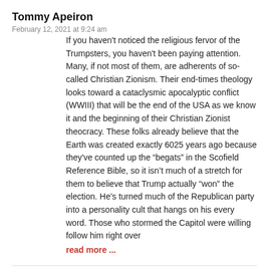Tommy Apeiron
February 12, 2021 at 9:24 am
If you haven't noticed the religious fervor of the Trumpsters, you haven't been paying attention. Many, if not most of them, are adherents of so-called Christian Zionism. Their end-times theology looks toward a cataclysmic apocalyptic conflict (WWIII) that will be the end of the USA as we know it and the beginning of their Christian Zionist theocracy. These folks already believe that the Earth was created exactly 6025 years ago because they've counted up the “begats” in the Scofield Reference Bible, so it isn’t much of a stretch for them to believe that Trump actually “won” the election. He’s turned much of the Republican party into a personality cult that hangs on his every word. Those who stormed the Capitol were willing follow him right over
read more ...
Victor Inr